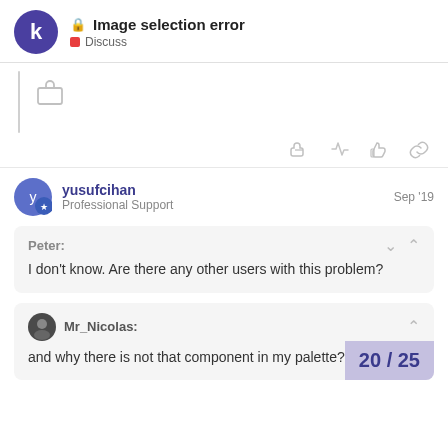Image selection error — Discuss
[Figure (screenshot): Briefcase icon with vertical bar separator and post action icons (thumbs up, link)]
yusufcihan — Professional Support — Sep '19
Peter:
I don't know. Are there any other users with this problem?
Mr_Nicolas:
and why there is not that component in my palette?
20 / 25